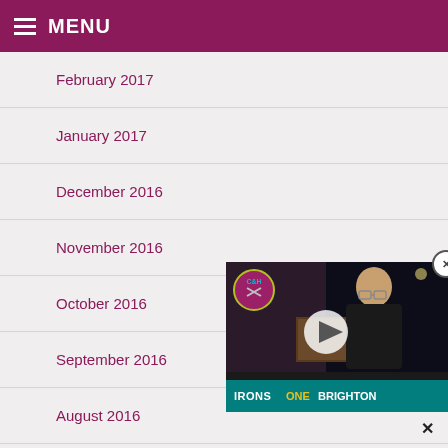MENU
February 2017
January 2017
December 2016
November 2016
October 2016
September 2016
August 2016
July 2016
[Figure (screenshot): Video thumbnail showing a man with glasses and a C&H West Ham logo, with caption 'IRONS ONE BRIGHTON'. Close button (X) in top right corner and bottom center.]